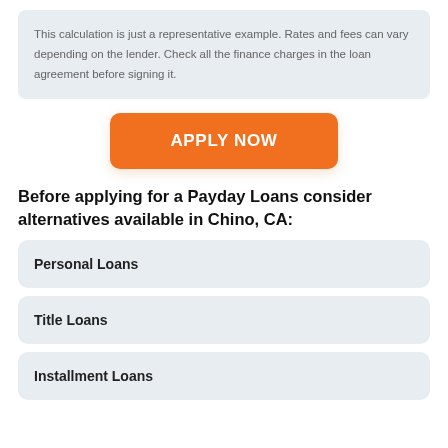This calculation is just a representative example. Rates and fees can vary depending on the lender. Check all the finance charges in the loan agreement before signing it.
[Figure (other): Orange 'APPLY NOW' button]
Before applying for a Payday Loans consider alternatives available in Chino, CA:
Personal Loans
Title Loans
Installment Loans